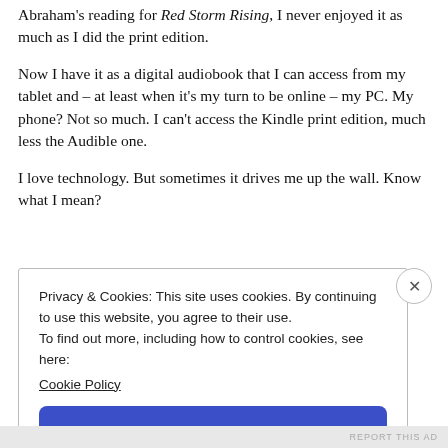Abraham's reading for Red Storm Rising, I never enjoyed it as much as I did the print edition.
Now I have it as a digital audiobook that I can access from my tablet and – at least when it's my turn to be online – my PC. My phone? Not so much. I can't access the Kindle print edition, much less the Audible one.
I love technology. But sometimes it drives me up the wall. Know what I mean?
Privacy & Cookies: This site uses cookies. By continuing to use this website, you agree to their use.
To find out more, including how to control cookies, see here: Cookie Policy
Close and accept
REPORT THIS AD